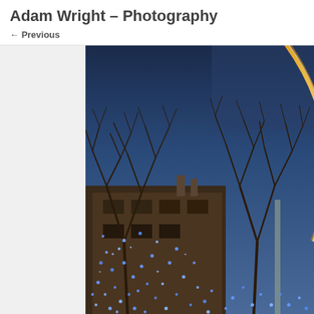Adam Wright – Photography
← Previous
[Figure (photo): Night photograph showing the London Eye ferris wheel with light trails forming a golden arc against a dark blue twilight sky. Bare winter trees are decorated with twinkling blue LED star lights. A brick building is visible in the background on the left side.]